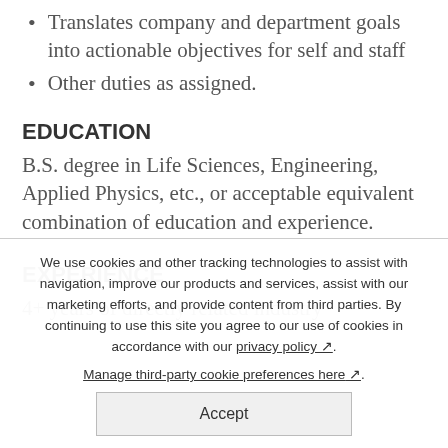Translates company and department goals into actionable objectives for self and staff
Other duties as assigned.
EDUCATION
B.S. degree in Life Sciences, Engineering, Applied Physics, etc., or acceptable equivalent combination of education and experience.
EXPERIENCE
4+ years of directly related industry
We use cookies and other tracking technologies to assist with navigation, improve our products and services, assist with our marketing efforts, and provide content from third parties. By continuing to use this site you agree to our use of cookies in accordance with our privacy policy. Manage third-party cookie preferences here. Accept